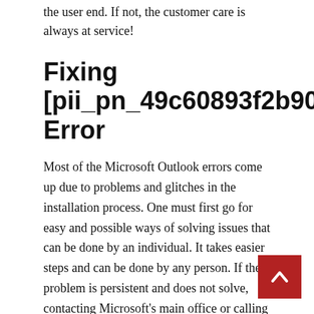the user end. If not, the customer care is always at service!
Fixing [pii_pn_49c60893f2b9034d] Error
Most of the Microsoft Outlook errors come up due to problems and glitches in the installation process. One must first go for easy and possible ways of solving issues that can be done by an individual. It takes easier steps and can be done by any person. If the problem is persistent and does not solve, contacting Microsoft's main office or calling in a technician can be the best. The help to look into, identify, and mitigate the problem, and render smooth working software to the user!